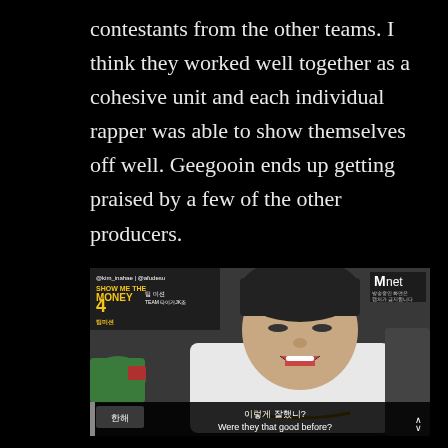contestants from the other teams. I think they worked well together as a cohesive unit and each individual rapper was able to show themselves off well. Geegooin ends up getting praised by a few of the other producers.
[Figure (screenshot): Screenshot from Mnet Show Me The Money 4, showing a young man in a white hoodie laughing/smiling, with Korean subtitles at the bottom reading '한해 이렇게 잘했니? Were they that good before?' and the Mnet logo in the top right corner. Top left shows show branding with SHOW ME THE MONEY 4 in yellow.]